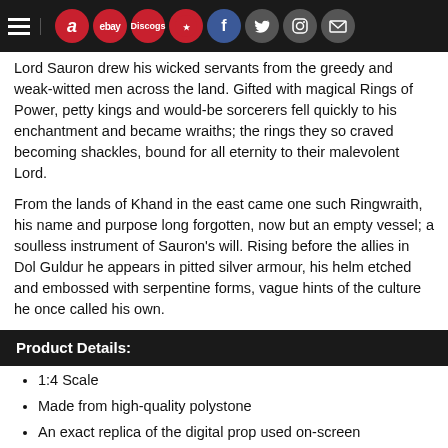Navigation header with hamburger menu and icons: amazon, ebay, Discogs, social icons (facebook, twitter, instagram, mail)
Lord Sauron drew his wicked servants from the greedy and weak-witted men across the land. Gifted with magical Rings of Power, petty kings and would-be sorcerers fell quickly to his enchantment and became wraiths; the rings they so craved becoming shackles, bound for all eternity to their malevolent Lord.
From the lands of Khand in the east came one such Ringwraith, his name and purpose long forgotten, now but an empty vessel; a soulless instrument of Sauron's will. Rising before the allies in Dol Guldur he appears in pitted silver armour, his helm etched and embossed with serpentine forms, vague hints of the culture he once called his own.
Product Details:
1:4 Scale
Made from high-quality polystone
An exact replica of the digital prop used on-screen
Comes with a display stand
Limited Edition
"Though the Wraiths had previously been portrayed as pale kings in `Ring vision,' the film's director wanted them to assume new forms, as